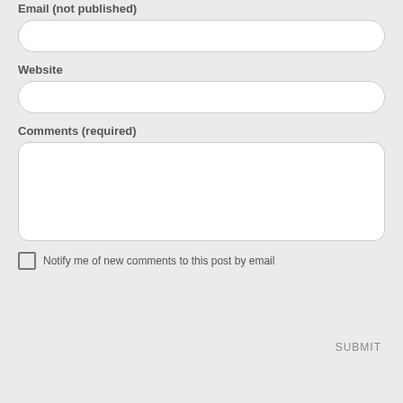Email (not published)
[Figure (other): Email input text field (rounded rectangle, empty)]
Website
[Figure (other): Website input text field (rounded rectangle, empty)]
Comments (required)
[Figure (other): Comments textarea field (rounded rectangle, empty, resizable)]
Notify me of new comments to this post by email
SUBMIT